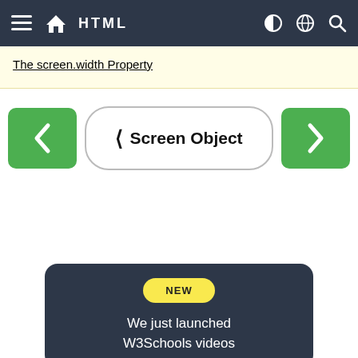HTML
The screen.width Property
❮ Screen Object
NEW
We just launched W3Schools videos